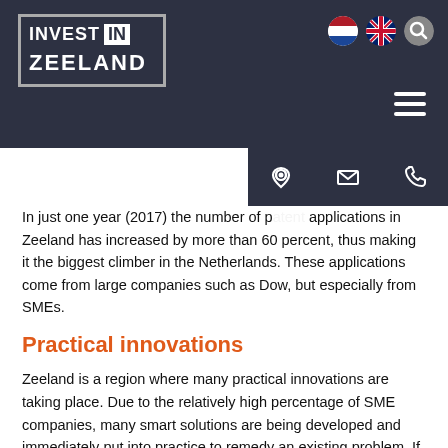Invest in Zeeland
In just one year (2017) the number of patent applications in Zeeland has increased by more than 60 percent, thus making it the biggest climber in the Netherlands. These applications come from large companies such as Dow, but especially from SMEs.
Practical innovations
Zeeland is a region where many practical innovations are taking place. Due to the relatively high percentage of SME companies, many smart solutions are being developed and immediately put into practice to remedy an existing problem. If relevant, universities, industry and government are